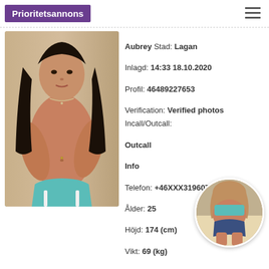Prioritetsannons
[Figure (photo): Main profile photo of a young dark-haired woman]
Aubrey Stad: Lagan
Inlagd: 14:33 18.10.2020
Profil: 46489227653
Verification: Verified photos Incall/Outcall: Outcall
Info
Telefon: +46XXX319607
Ålder: 25
Höjd: 174 (cm)
Vikt: 69 (kg)
Silikon: -
[Figure (photo): Circular thumbnail photo of a woman from behind]
Parkering: Nej
Im ser: I searching swinger couples
Hobby: Sex,belly dancing,everquest,fly